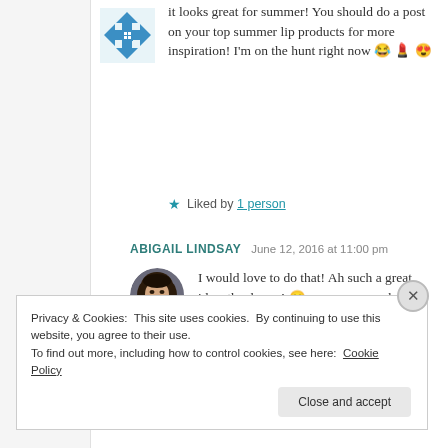it looks great for summer! You should do a post on your top summer lip products for more inspiration! I'm on the hunt right now 😂 💄 😍
★ Liked by 1 person
ABIGAIL LINDSAY   June 12, 2016 at 11:00 pm
I would love to do that! Ah such a great idea, thank you! 😊 you can never have enough lippies…never
Privacy & Cookies: This site uses cookies. By continuing to use this website, you agree to their use.
To find out more, including how to control cookies, see here: Cookie Policy
Close and accept